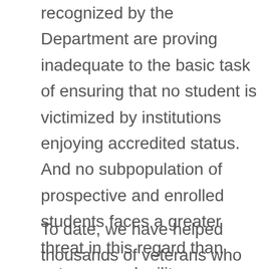recognized by the Department are proving inadequate to the basic task of ensuring that no student is victimized by institutions enjoying accredited status. And no subpopulation of prospective and enrolled students faces a greater threat in this regard than veterans and military-connected students. The availability of non-Title IV funding for military-connected students has created distinctive and at times problematic institutional incentives for their recruitment by providers.
To date, we have helped thousands of veterans who were directly hurt by inadequate accountability measures and gatekeeping for